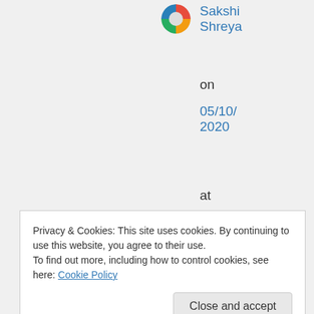[Figure (illustration): User avatar circle with colorful segments (green, red, blue, orange)]
Sakshi Shreya
on
05/10/2020
at
06:20
👍 0 👎
0
ℹ️
Rate
This
Privacy & Cookies: This site uses cookies. By continuing to use this website, you agree to their use.
To find out more, including how to control cookies, see here: Cookie Policy
Close and accept
Liked